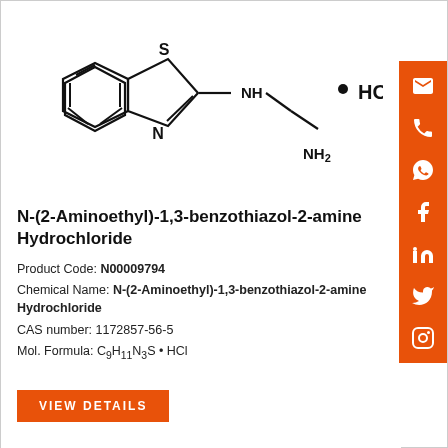[Figure (schematic): Chemical structure of N-(2-Aminoethyl)-1,3-benzothiazol-2-amine Hydrochloride showing benzothiazole ring connected via NH to an ethylamine chain, with HCl salt dot notation]
N-(2-Aminoethyl)-1,3-benzothiazol-2-amine Hydrochloride
Product Code: N00009794
Chemical Name: N-(2-Aminoethyl)-1,3-benzothiazol-2-amine Hydrochloride
CAS number: 1172857-56-5
Mol. Formula: C9H11N3S · HCl